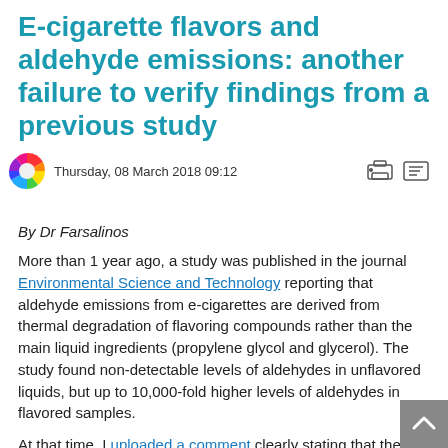E-cigarette flavors and aldehyde emissions: another failure to verify findings from a previous study
Thursday, 08 March 2018 09:12
By Dr Farsalinos
More than 1 year ago, a study was published in the journal Environmental Science and Technology reporting that aldehyde emissions from e-cigarettes are derived from thermal degradation of flavoring compounds rather than the main liquid ingredients (propylene glycol and glycerol). The study found non-detectable levels of aldehydes in unflavored liquids, but up to 10,000-fold higher levels of aldehydes in flavored samples.
At that time, I uploaded a comment clearly stating that the results contradict previous research on aldehyde emissions. I also emphasized that the findings were NOT related to overheating and dry puffs, unlike other studies that had